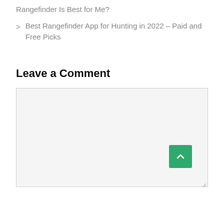Rangefinder Is Best for Me?
> Best Rangefinder App for Hunting in 2022 – Paid and Free Picks
Leave a Comment
[Figure (screenshot): Empty comment text area input box with light gray background and border, with a resize handle in the bottom right corner. A green scroll-to-top button with an upward chevron arrow is overlaid on the bottom right of the comment box.]